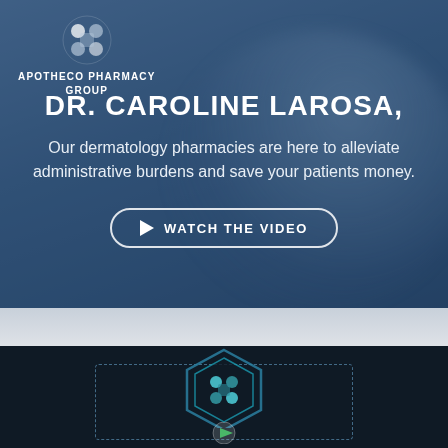[Figure (logo): Apotheco Pharmacy Group logo with cross/pill icon and text]
DR. CAROLINE LAROSA,
Our dermatology pharmacies are here to alleviate administrative burdens and save your patients money.
WATCH THE VIDEO
[Figure (screenshot): Video thumbnail showing Apotheco Pharmacy Group animated logo on dark background with hexagon icon and dashed border, play button at bottom]